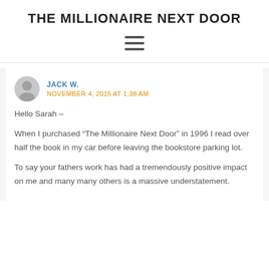THE MILLIONAIRE NEXT DOOR
[Figure (other): Hamburger/menu icon with three horizontal lines]
JACK W.
NOVEMBER 4, 2015 AT 1:38 AM
Hello Sarah —
When I purchased “The Millionaire Next Door” in 1996 I read over half the book in my car before leaving the bookstore parking lot.
To say your fathers work has had a tremendously positive impact on me and many many others is a massive understatement.